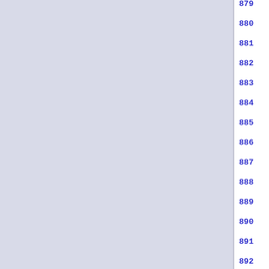Line 879: use these variables to overr...
880 it to find libraries and pro...
881
882 _ACEOF
883 fi
884
885 if test "$ac_init_help" = "re...
886   # If there are subdirs, re...
887   ac_popdir=`pwd`
888   for ac_dir in : $ac_subdirs...
889     test -d $ac_dir || conti...
890     ac_builddir=.
891
892 if test "$ac_dir" != .; then
893   ac_dir_suffix=/`echo "$ac_...
894   # A "../" for each directo...
895   ac_top_builddir=`echo...